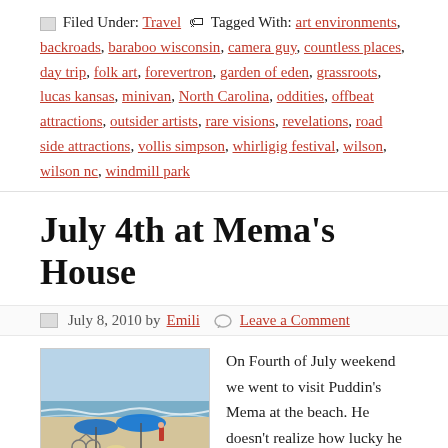Filed Under: Travel   Tagged With: art environments, backroads, baraboo wisconsin, camera guy, countless places, day trip, folk art, forevertron, garden of eden, grassroots, lucas kansas, minivan, North Carolina, oddities, offbeat attractions, outsider artists, rare visions, revelations, road side attractions, vollis simpson, whirligig festival, wilson, wilson nc, windmill park
July 4th at Mema’s House
July 8, 2010 by Emili   Leave a Comment
[Figure (photo): Beach scene with blue umbrellas, people lounging, bicycles, and ocean waves in the background.]
On Fourth of July weekend we went to visit Puddin’s Mema at the beach. He doesn’t realize how lucky he is to have all his grandparents living at the coast. As a married couple with no children the beach